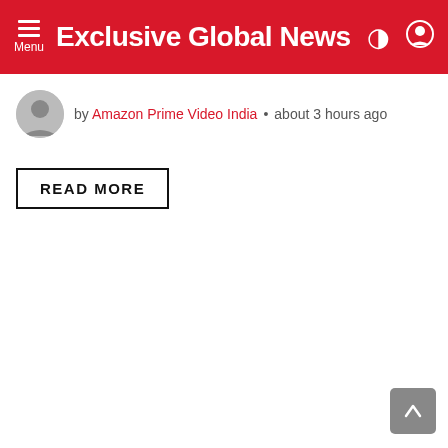Exclusive Global News
by Amazon Prime Video India • about 3 hours ago
READ MORE
↑